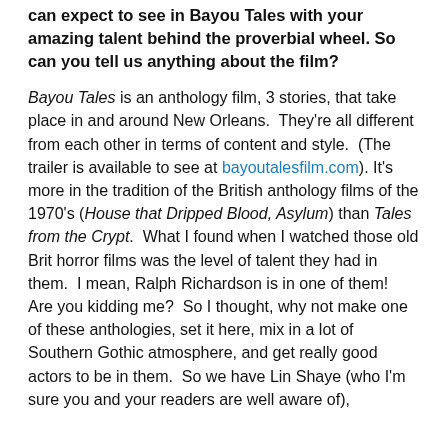can expect to see in Bayou Tales with your amazing talent behind the proverbial wheel. So can you tell us anything about the film?
Bayou Tales is an anthology film, 3 stories, that take place in and around New Orleans.  They're all different from each other in terms of content and style.  (The trailer is available to see at bayoutalesfilm.com). It's more in the tradition of the British anthology films of the 1970's (House that Dripped Blood, Asylum) than Tales from the Crypt.  What I found when I watched those old Brit horror films was the level of talent they had in them.  I mean, Ralph Richardson is in one of them!  Are you kidding me?  So I thought, why not make one of these anthologies, set it here, mix in a lot of Southern Gothic atmosphere, and get really good actors to be in them.  So we have Lin Shaye (who I'm sure you and your readers are well aware of),